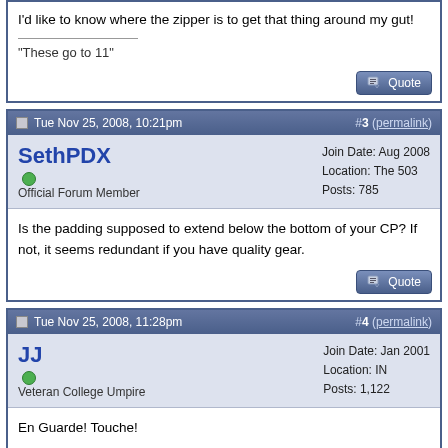I'd like to know where the zipper is to get that thing around my gut!
"These go to 11"
Tue Nov 25, 2008, 10:21pm  #3 (permalink)
SethPDX  Official Forum Member  Join Date: Aug 2008  Location: The 503  Posts: 785
Is the padding supposed to extend below the bottom of your CP? If not, it seems redundant if you have quality gear.
Tue Nov 25, 2008, 11:28pm  #4 (permalink)
JJ  Veteran College Umpire  Join Date: Jan 2001  Location: IN  Posts: 1,122
En Guarde! Touche!

Curses...."foiled" again!

JJ